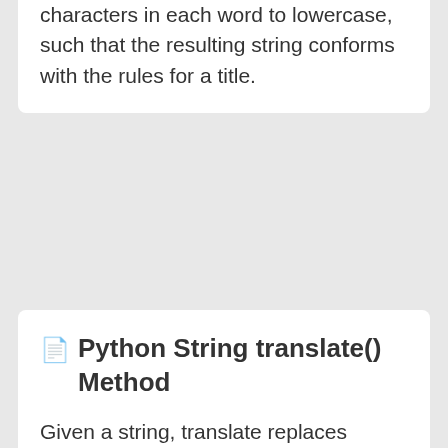characters in each word to lowercase, such that the resulting string conforms with the rules for a title.
Python String translate() Method
Given a string, translate replaces characters in that string with other characters as specified in the supplied "translation" and returns the new string. A translation is simply a map of characters, and the characters to those characters with.